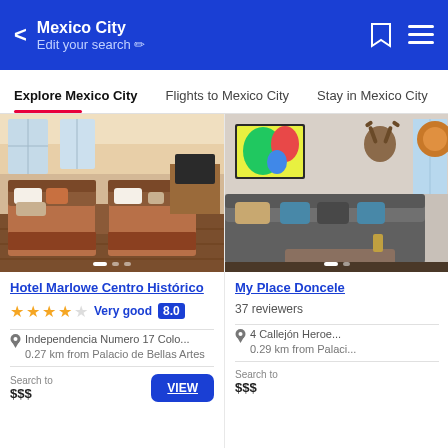Mexico City / Edit your search
Explore Mexico City | Flights to Mexico City | Stay in Mexico City
[Figure (photo): Hotel room photo showing two twin beds with brown/orange bedspreads, wooden headboards, and a desk area - Hotel Marlowe Centro Histórico]
Hotel Marlowe Centro Histórico
★★★★☆ Very good 8.0
📍 Independencia Numero 17 Colo...
0.27 km from Palacio de Bellas Artes
$$$ Search to VIEW
[Figure (photo): Modern lounge area with grey sofa, colorful wall art, and a deer head wall mount - My Place Doncele]
My Place Doncele
37 reviewers
📍 4 Callejón Heroe...
0.29 km from Palaci...
$$$ Search to